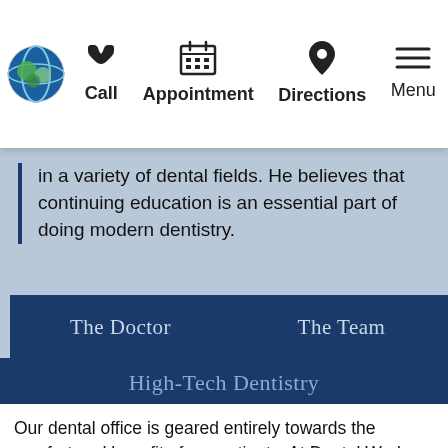Call  Appointment  Directions  Menu
in a variety of dental fields. He believes that continuing education is an essential part of doing modern dentistry.
The Doctor
The Team
High-Tech Dentistry
Our dental office is geared entirely towards the comfort and benefit of our patients. At Dental Works, we use the latest state-of-the-art dental equipment to allow for the